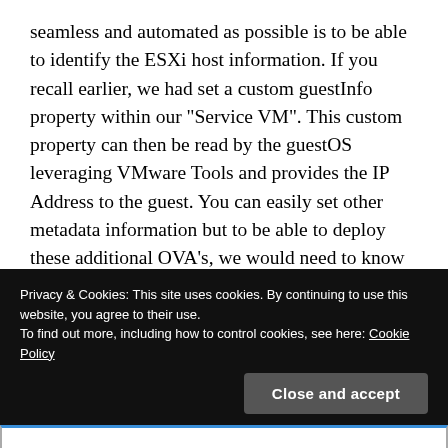seamless and automated as possible is to be able to identify the ESXi host information. If you recall earlier, we had set a custom guestInfo property within our "Service VM". This custom property can then be read by the guestOS leveraging VMware Tools and provides the IP Address to the guest. You can easily set other metadata information but to be able to deploy these additional OVA's, we would need to know the IP Address of the ESXi host and this makes it so you do not need to hard code anything (perhaps ESXi host credentials).
Privacy & Cookies: This site uses cookies. By continuing to use this website, you agree to their use.
To find out more, including how to control cookies, see here: Cookie Policy